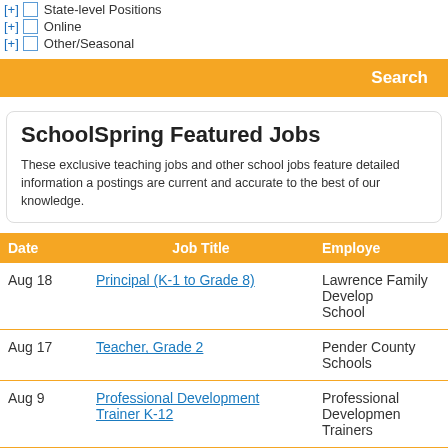[+] State-level Positions
[+] Online
[+] Other/Seasonal
Search
SchoolSpring Featured Jobs
These exclusive teaching jobs and other school jobs feature detailed information a... postings are current and accurate to the best of our knowledge.
| Date | Job Title | Employer |
| --- | --- | --- |
| Aug 18 | Principal (K-1 to Grade 8) | Lawrence Family Development School |
| Aug 17 | Teacher, Grade 2 | Pender County Schools |
| Aug 9 | Professional Development Trainer K-12 | Professional Development Trainers |